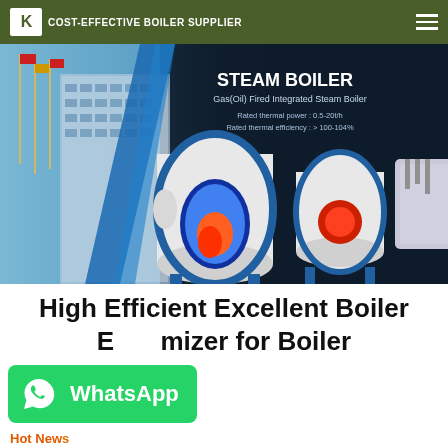YUJU BOILER — COST-EFFECTIVE BOILER SUPPLIER
[Figure (screenshot): Steam boiler product banner showing industrial boilers with text: STEAM BOILER, Gas(Oil) Fired Integrated Steam Boiler, Rated thermal power: 0.5-20t/h, Rated thermal efficiency: > 100-104%]
High Efficient Excellent Boiler Economizer for Boiler
[Figure (logo): WhatsApp button with green background and WhatsApp icon]
Hot News